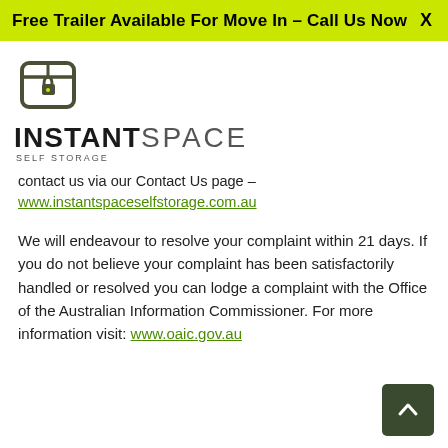Free Trailer Available For Move In – Call Us Now
[Figure (logo): Instant Space Self Storage logo — hexagonal box icon above the text INSTANT SPACE SELF STORAGE]
contact us via our Contact Us page –
www.instantspaceselfstorage.com.au
We will endeavour to resolve your complaint within 21 days. If you do not believe your complaint has been satisfactorily handled or resolved you can lodge a complaint with the Office of the Australian Information Commissioner. For more information visit: www.oaic.gov.au